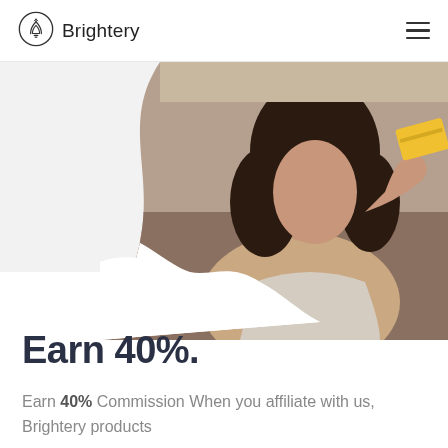Brightery
[Figure (photo): Woman holding a yellow credit card, photographed in a warm interior setting, displayed in a wave/circle-clipped hero image layout]
Earn 40%.
Earn 40% Commission When you affiliate with us, Brightery products